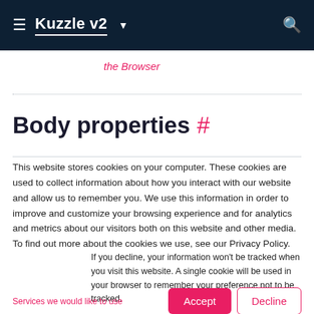Kuzzle v2
the Browser
Body properties #
This website stores cookies on your computer. These cookies are used to collect information about how you interact with our website and allow us to remember you. We use this information in order to improve and customize your browsing experience and for analytics and metrics about our visitors both on this website and other media. To find out more about the cookies we use, see our Privacy Policy.
If you decline, your information won’t be tracked when you visit this website. A single cookie will be used in your browser to remember your preference not to be tracked.
Services we would like to use
Accept
Decline